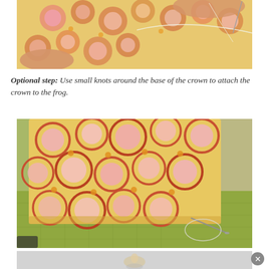[Figure (photo): Close-up photo of hands holding a small yellow fabric with pink and orange circle pattern, being sewn with a needle and thread.]
Optional step: Use small knots around the base of the crown to attach the crown to the frog.
[Figure (photo): Photo of a cylindrical fabric crown with yellow background and pink/orange circle pattern sitting on green fabric (frog body), with a sewing needle and thread visible at the base.]
[Figure (photo): Partial advertisement or additional photo at the bottom of the page, showing a blurred white/light background with a close button (X) in the bottom right.]